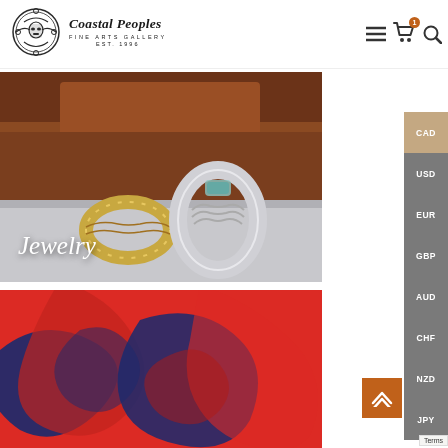[Figure (logo): Coastal Peoples Fine Arts Gallery logo with decorative circular indigenous art emblem, brand name in italic serif, EST. 1996]
[Figure (photo): Two indigenous-style rings on rocky background — a gold band with carved design and a silver ring with turquoise stone. Text overlay reads 'Jewelry']
[Figure (photo): Abstract indigenous art pattern on red background with dark blue curvilinear shapes]
[Figure (infographic): Currency selector sidebar with buttons: CAD (tan/beige), USD, EUR, GBP, AUD, CHF, NZD, JPY (all grey)]